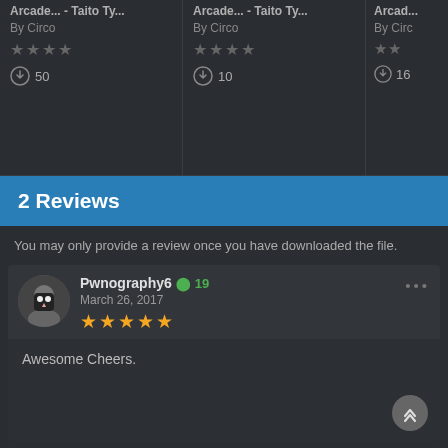Arcade... - Taito Ty... By Circo ⬇ 50
Arcade... - Taito Ty... By Circo ⬇ 10
Arcade... By Circ... ⬇ 16
2 Reviews
You may only provide a review once you have downloaded the file.
Pwnography6 ✪ 19
March 26, 2017
★★★★★
Awesome Cheers.
Circo ✪ ...